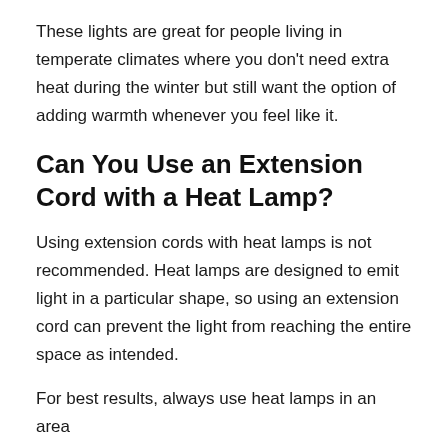These lights are great for people living in temperate climates where you don't need extra heat during the winter but still want the option of adding warmth whenever you feel like it.
Can You Use an Extension Cord with a Heat Lamp?
Using extension cords with heat lamps is not recommended. Heat lamps are designed to emit light in a particular shape, so using an extension cord can prevent the light from reaching the entire space as intended.
For best results, always use heat lamps in an area